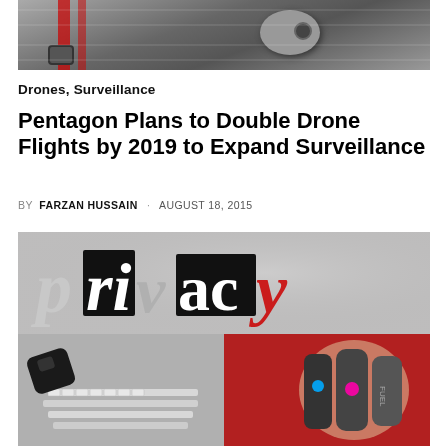[Figure (photo): Photo of a drone/UAV aircraft on the ground with red markings and mechanical details]
Drones, Surveillance
Pentagon Plans to Double Drone Flights by 2019 to Expand Surveillance
BY FARZAN HUSSAIN · AUGUST 18, 2015
[Figure (photo): Collage image: top half shows 'privacy' text in mixed typography styles on gray background; bottom left shows a dark device on a keyboard; bottom right shows fitness wristbands on a wrist against red background]